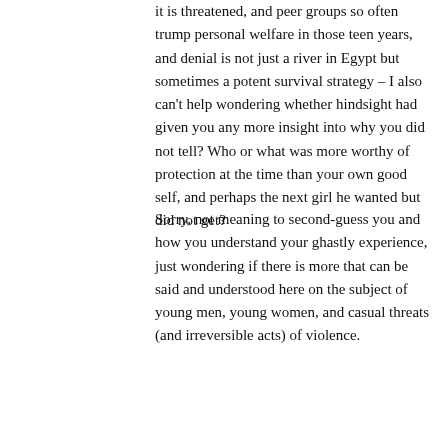it is threatened, and peer groups so often trump personal welfare in those teen years, and denial is not just a river in Egypt but sometimes a potent survival strategy – I also can't help wondering whether hindsight had given you any more insight into why you did not tell? Who or what was more worthy of protection at the time than your own good self, and perhaps the next girl he wanted but did not get?
Sorry, not meaning to second-guess you and how you understand your ghastly experience, just wondering if there is more that can be said and understood here on the subject of young men, young women, and casual threats (and irreversible acts) of violence.
Auckland, NZ • Since Nov 2006 • 1472 posts
Reply
Sofie Bribiesca, 13 years ago ∞
just wondering if there is more that can be said